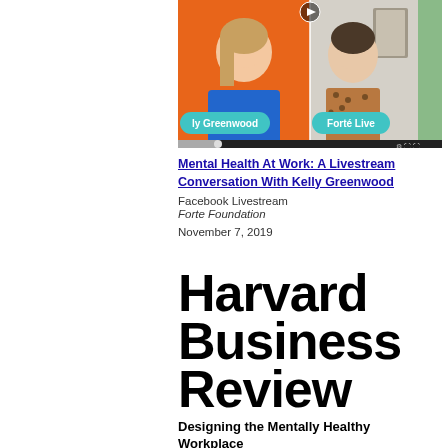[Figure (screenshot): Video thumbnail showing two people in a split screen Facebook Livestream. Left person labeled 'ly Greenwood' with teal name tag, right person labeled 'Forté Live' with teal name tag. Play button visible at top center.]
Mental Health At Work: A Livestream Conversation With Kelly Greenwood
Facebook Livestream
Forte Foundation
November 7, 2019
[Figure (logo): Harvard Business Review logo in large bold black text]
Designing the Mentally Healthy Workplace